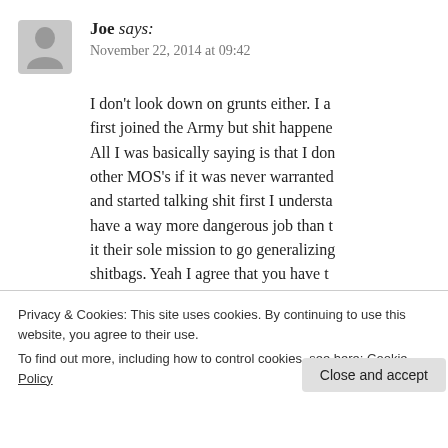Joe says: November 22, 2014 at 09:42
I don't look down on grunts either. I a first joined the Army but shit happened. All I was basically saying is that I don other MOS's if it was never warranted and started talking shit first I understa have a way more dangerous job than it their sole mission to go generalizing shitbags. Yeah I agree that you have t earned and trash talking others in hum mentioned there is a POC mentality e ki
Privacy & Cookies: This site uses cookies. By continuing to use this website, you agree to their use.
To find out more, including how to control cookies, see here: Cookie Policy
Close and accept